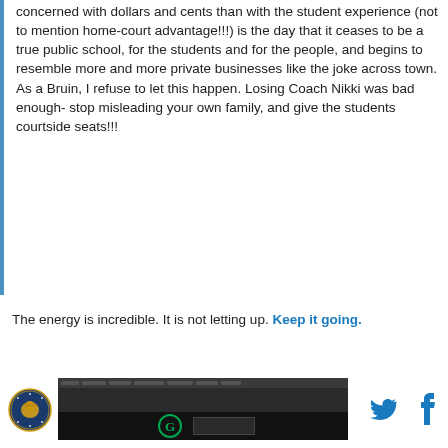concerned with dollars and cents than with the student experience (not to mention home-court advantage!!!) is the day that it ceases to be a true public school, for the students and for the people, and begins to resemble more and more private businesses like the joke across town. As a Bruin, I refuse to let this happen. Losing Coach Nikki was bad enough- stop misleading your own family, and give the students courtside seats!!!
The energy is incredible. It is not letting up. Keep it going.
[Figure (screenshot): Dark video player thumbnail showing 'Top Articles' bar with blue indicator, options menu dots, and a Green Bay Packers G logo on dark background]
[Figure (logo): Circular golden eagle logo in bottom left footer area]